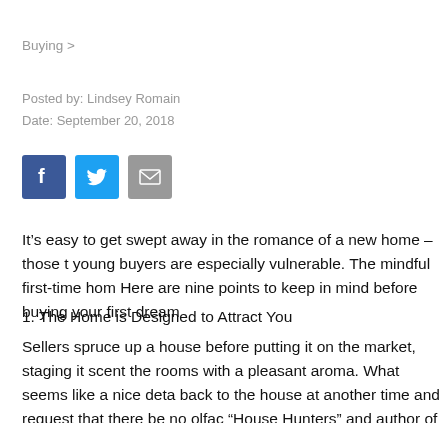Buying >
Posted by: Lindsey Romain
Date: September 20, 2018
[Figure (infographic): Social share buttons: Facebook (blue), Twitter (light blue), Email (gray)]
It’s easy to get swept away in the romance of a new home – those t young buyers are especially vulnerable. The mindful first-time hom Here are nine points to keep in mind before buying your first dream
1. The Home is Designed to Attract You
Sellers spruce up a house before putting it on the market, staging it scent the rooms with a pleasant aroma. What seems like a nice deta back to the house at another time and request that there be no olfac “House Hunters” and author of “Suzanne Whang’s Guide to Happy
2. Empty Rooms Only Seem Bigger
During a walkthrough, think about your own possessions and how the house is empty, remember that furniture will make each room